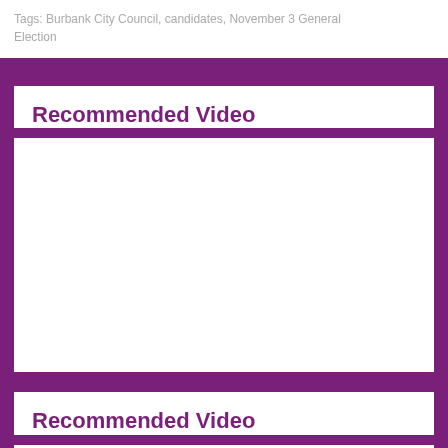Tags: Burbank City Council, candidates, November 3 General Election
Recommended Video
[Figure (other): Recommended Video placeholder area (empty white box)]
Recommended Video
[Figure (other): Recommended Video placeholder area (empty white box, partially visible)]